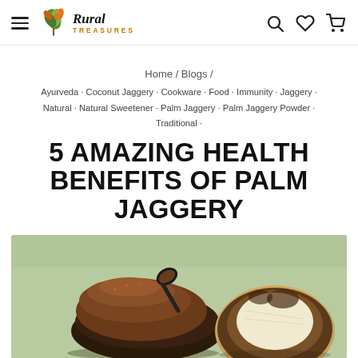Rural Treasures
Home / Blogs /
Ayurveda · Coconut Jaggery · Cookware · Food · Immunity · Jaggery · Natural · Natural Sweetener · Palm Jaggery · Palm Jaggery Powder · Traditional ·
5 AMAZING HEALTH BENEFITS OF PALM JAGGERY
[Figure (photo): Palm jaggery powder in a black bowl with a spoon, with a coconut halve on the right, on a muted green background]